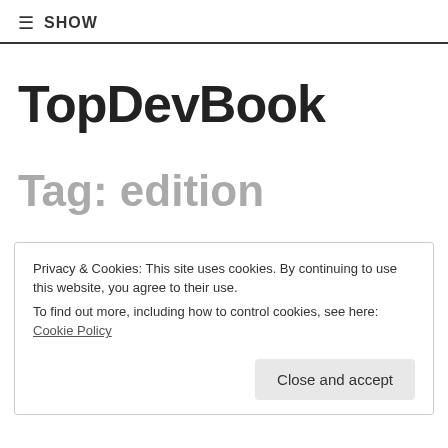≡ SHOW
TopDevBook
Tag: edition
Privacy & Cookies: This site uses cookies. By continuing to use this website, you agree to their use.
To find out more, including how to control cookies, see here: Cookie Policy
Close and accept